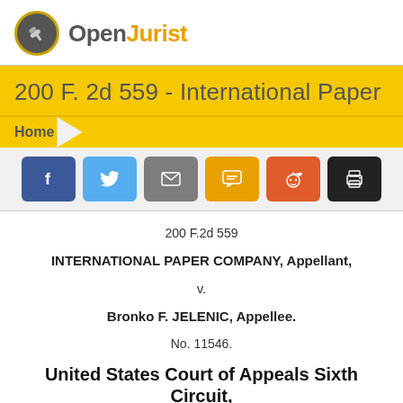OpenJurist
200 F. 2d 559 - International Paper
Home
[Figure (infographic): Social sharing buttons: Facebook (blue), Twitter (light blue), Email (gray), SMS (orange/yellow), Reddit (orange-red), Print (black)]
200 F.2d 559
INTERNATIONAL PAPER COMPANY, Appellant,
v.
Bronko F. JELENIC, Appellee.
No. 11546.
United States Court of Appeals Sixth Circuit,